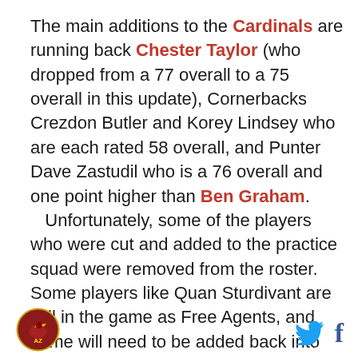The main additions to the Cardinals are running back Chester Taylor (who dropped from a 77 overall to a 75 overall in this update), Cornerbacks Crezdon Butler and Korey Lindsey who are each rated 58 overall, and Punter Dave Zastudil who is a 76 overall and one point higher than Ben Graham. Unfortunately, some of the players who were cut and added to the practice squad were removed from the roster. Some players like Quan Sturdivant are still in the game as Free Agents, and some will need to be added back into the game because of a limit to how many people can be in the Free Agency pool. So, if Marshay Green needs to be added back to the Cardinals roster you will need to wait for the next roster
[Figure (logo): Arizona Cardinals circular team logo]
[Figure (logo): Twitter bird icon in light blue]
[Figure (logo): Facebook f icon in dark blue]